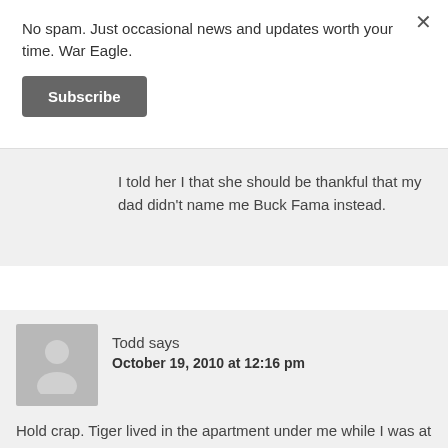No spam. Just occasional news and updates worth your time. War Eagle.
Subscribe
I told her I that she should be thankful that my dad didn't name me Buck Fama instead.
Todd says
October 19, 2010 at 12:16 pm
Hold crap. Tiger lived in the apartment under me while I was at Auburn. I feel famous.